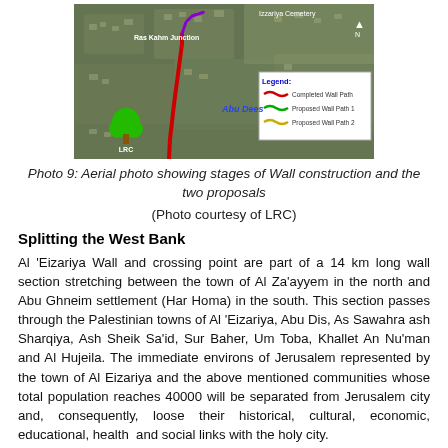[Figure (photo): Aerial photo (satellite image) showing stages of Wall construction and two proposals near Abu Dis / Al Eizariya area. Includes a legend box with: Completed Wall Path (red), Proposed Wall Path 1 (green), Proposed Wall Path 2 (yellow). Labels include Ras Kahm Junction, Abu Dees, Izzariya Cemetery, and LRC logo.]
Photo 9: Aerial photo showing stages of Wall construction and the two proposals
(Photo courtesy of LRC)
Splitting the West Bank
Al 'Eizariya Wall and crossing point are part of a 14 km long wall section stretching between the town of Al Za'ayyem in the north and Abu Ghneim settlement (Har Homa) in the south. This section passes through the Palestinian towns of Al 'Eizariya, Abu Dis, As Sawahra ash Sharqiya, Ash Sheik Sa'id, Sur Baher, Um Toba, Khallet An Nu'man and Al Hujeila. The immediate environs of Jerusalem represented by the town of Al Eizariya and the above mentioned communities whose total population reaches 40000 will be separated from Jerusalem city and, consequently, loose their historical, cultural, economic, educational, health and social links with the holy city.